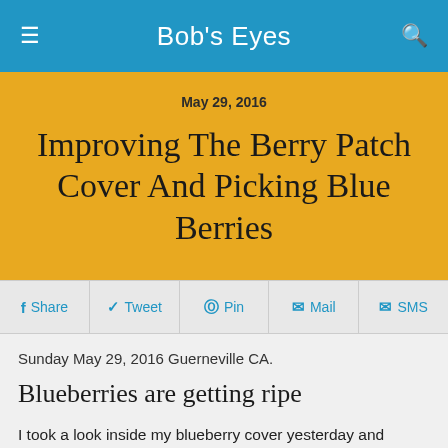Bob's Eyes
May 29, 2016
Improving The Berry Patch Cover And Picking Blue Berries
Share   Tweet   Pin   Mail   SMS
Sunday May 29, 2016 Guerneville CA.
Blueberries are getting ripe
I took a look inside my blueberry cover yesterday and noticed quite a few berry's were ripe. I ate a few and